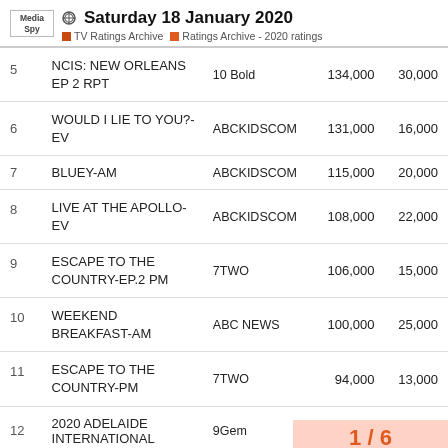Saturday 18 January 2020 | TV Ratings Archive | Ratings Archive - 2020 ratings
| # | Show | Channel | Viewers | Demo |
| --- | --- | --- | --- | --- |
| 5 | NCIS: NEW ORLEANS EP 2 RPT | 10 Bold | 134,000 | 30,000 |
| 6 | WOULD I LIE TO YOU?-EV | ABCKIDSCOM | 131,000 | 16,000 |
| 7 | BLUEY-AM | ABCKIDSCOM | 115,000 | 20,000 |
| 8 | LIVE AT THE APOLLO-EV | ABCKIDSCOM | 108,000 | 22,000 |
| 9 | ESCAPE TO THE COUNTRY-EP.2 PM | 7TWO | 106,000 | 15,000 |
| 10 | WEEKEND BREAKFAST-AM | ABC NEWS | 100,000 | 25,000 |
| 11 | ESCAPE TO THE COUNTRY-PM | 7TWO | 94,000 | 13,000 |
| 12 | 2020 ADELAIDE INTERNATIONAL | 9Gem |  |  |
1 / 6